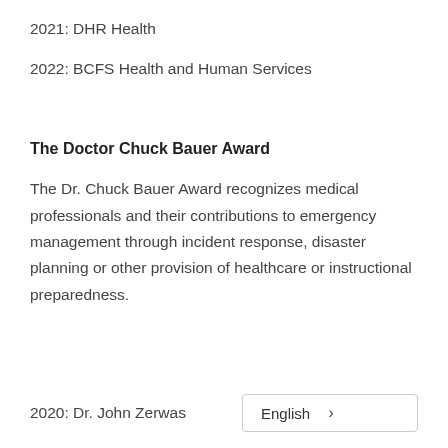2021: DHR Health
2022: BCFS Health and Human Services
The Doctor Chuck Bauer Award
The Dr. Chuck Bauer Award recognizes medical professionals and their contributions to emergency management through incident response, disaster planning or other provision of healthcare or instructional preparedness.
2020: Dr. John Zerwas